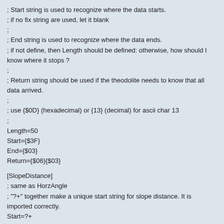; Start string is used to recognize where the data starts.
; if no fix string are used, let it blank
;
; End string is used to recognize where the data ends.
; if not define, then Length should be defined: otherwise, how should I know where it stops ?
;
; Return string should be used if the theodolite needs to know that all data arrived.
;
; use {$0D} (hexadecimal) or {13} (decimal) for ascii char 13
;
Length=50
Start={$3F}
End={$03}
Return={$06}{$03}
[SlopeDistance]
; same as HorzAngle
; "?+" together make a unique start string for slope distance. It is imported correctly.
Start=?+
Length=08
Factor=1000